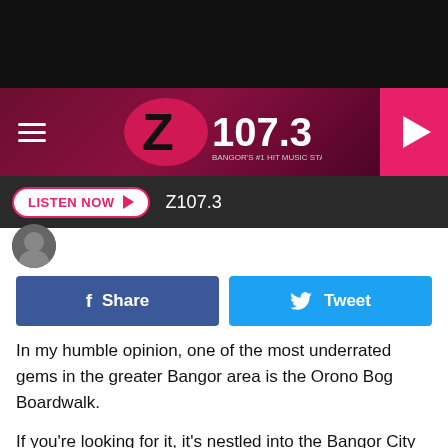[Figure (screenshot): Z107.3 radio station website header with dark maroon/purple gradient background, hamburger menu icon on left, Z107.3 logo in center with pink circle Z and white text '107.3', pink play button on right]
[Figure (screenshot): Dark gray navigation bar with white 'LISTEN NOW' button with pink border and play arrow, and 'Z107.3' text in white]
[Figure (screenshot): Social share buttons: blue Facebook 'Share' button and light blue Twitter 'Tweet' button]
In my humble opinion, one of the most underrated gems in the greater Bangor area is the Orono Bog Boardwalk.
If you're looking for it, it's nestled into the Bangor City Forest. According to its Facebook Page:
"The Orono Bog Boardwalk is 4,200 feet long and is composed of 509 sections 8 feet long and 4 feet wide, plus connector bridging at turns. Seven interpretive stations plus an orientation kiosk educate Boardwalk visitors about the